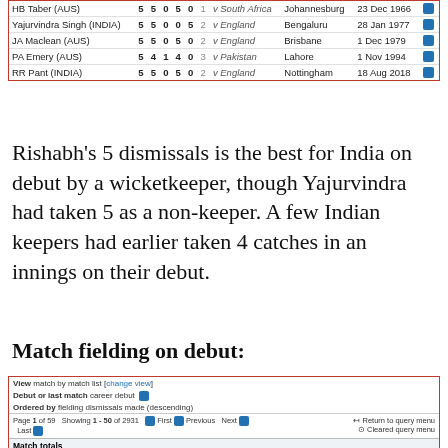| Player | Dis | Ct | St | Ct Wk | Ct Fi | Opposition | Ground | Start Date |  |
| --- | --- | --- | --- | --- | --- | --- | --- | --- | --- |
| HB Taber (AUS) | 5 | 5 | 0 | 5 | 0 | 1 | v South Africa | Johannesburg | 23 Dec 1966 |
| Yajurvindra Singh (INDIA) | 5 | 5 | 0 | 0 | 5 | 2 | v England | Bengaluru | 28 Jan 1977 |
| JA Maclean (AUS) | 5 | 5 | 0 | 5 | 0 | 2 | v England | Brisbane | 1 Dec 1979 |
| PA Emery (AUS) | 5 | 4 | 1 | 4 | 0 | 3 | v Pakistan | Lahore | 1 Nov 1994 |
| RR Pant (INDIA) | 5 | 5 | 0 | 5 | 0 | 2 | v England | Nottingham | 18 Aug 2018 |
Rishabh's 5 dismissals is the best for India on debut by a wicketkeeper, though Yajurvindra had taken 5 as a non-keeper. A few Indian keepers had earlier taken 4 catches in an innings on their debut.
Match fielding on debut:
| Player | Dis | Ct | St | Ct Wk | Ct Fi | Opposition | Ground | Start Date |  |
| --- | --- | --- | --- | --- | --- | --- | --- | --- | --- |
| HB Taber (AUS) | 8 | 7 | 1 | 7 | 0 | v South Africa | Johannesburg | 23 Dec 1966 |
| CMW Read (ENG) | 8 | 7 | 1 | 7 | 0 | v New Zealand | Birmingham | 1 Jul 1999 |
| GRA Langley (AUS) | 7 | 3 | 4 | 3 | 0 | v West Indies | Brisbane | 9 Nov 1951 |
| AE Dick (NZ) | 7 | 6 | 1 | 6 | 0 | v South Africa | Durban | 8 Dec 1961 |
| APE Knott (ENG) | 7 | 7 | 0 | 7 | 0 | v Pakistan | Nottingham | 10 Aug 1967 |
| Yajurvindra Singh (INDIA) | 7 | 7 | 0 | 0 | 7 | v England | Bengaluru | 28 Jan 1977 |
| Saleem Yousuf (PAK) | 7 | 5 | 2 | 5 | 0 | v Sri Lanka | Karachi | 5 Mar 1982 |